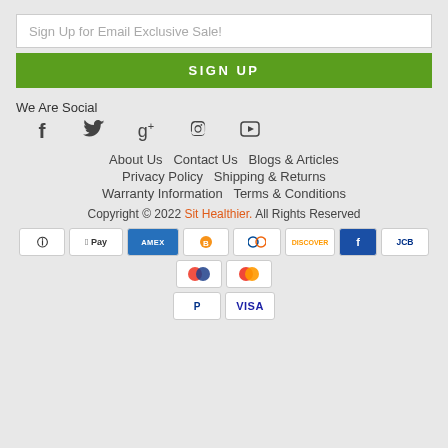Sign Up for Email Exclusive Sale!
SIGN UP
We Are Social
[Figure (infographic): Social media icons: Facebook, Twitter, Google+, Pinterest, Instagram, YouTube]
About Us   Contact Us   Blogs & Articles
Privacy Policy   Shipping & Returns
Warranty Information   Terms & Conditions
Copyright © 2022 Sit Healthier. All Rights Reserved
[Figure (infographic): Payment method icons: Amazon, Apple Pay, AMEX, Bitcoin, Diners Club, Discover, Forbrugsforeningen, JCB, Maestro, Mastercard, PayPal, Visa]